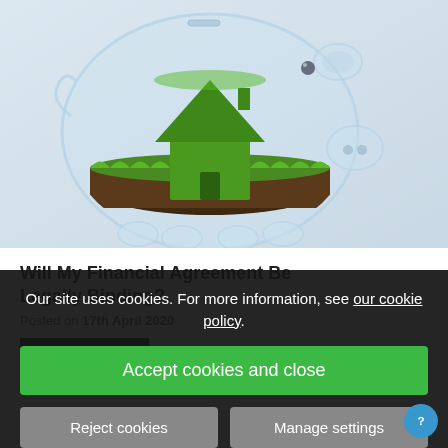[Figure (photo): Transparent glass piggy bank containing a grass-covered house shape with soil, sitting on a light blue-grey background — symbolising home savings or mortgage investment.]
Will My Financial Agreement Be Legally Binding?
Posted on 17th April 2020
READ MORE
Our site uses cookies. For more information, see our cookie policy.
Accept cookies and close
Reject cookies
Manage settings